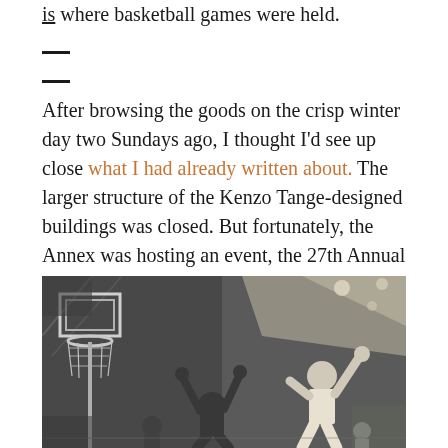is where basketball games were held. After browsing the goods on the crisp winter day two Sundays ago, I thought I'd see up close what I had already written about. The larger structure of the Kenzo Tange-designed buildings was closed. But fortunately, the Annex was hosting an event, the 27th Annual Women's Gymnastics Club, a free event, so I suddenly found myself in the stadium where Jerry Shipp, Mel Counts, Luke Jackson, Jeff Mullins, Bill Bradley and Larry Brown, to name a few, won their gold medal for the United States basketball team.
[Figure (photo): Black and white photograph of a basketball game, showing players near a basketball hoop, one player reaching up with both arms, another player defending.]